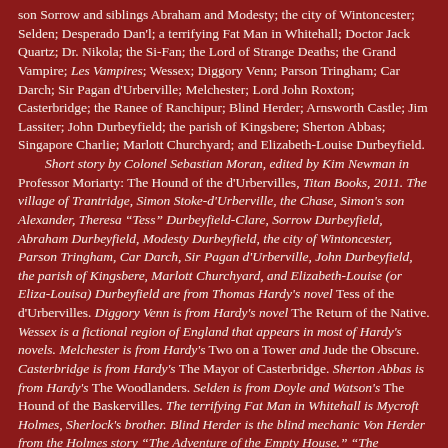son Sorrow and siblings Abraham and Modesty; the city of Wintoncester; Selden; Desperado Dan'l; a terrifying Fat Man in Whitehall; Doctor Jack Quartz; Dr. Nikola; the Si-Fan; the Lord of Strange Deaths; the Grand Vampire; Les Vampires; Wessex; Diggory Venn; Parson Tringham; Car Darch; Sir Pagan d'Urberville; Melchester; Lord John Roxton; Casterbridge; the Ranee of Ranchipur; Blind Herder; Arnsworth Castle; Jim Lassiter; John Durbeyfield; the parish of Kingsbere; Sherton Abbas; Singapore Charlie; Marlott Churchyard; and Elizabeth-Louise Durbeyfield.
	Short story by Colonel Sebastian Moran, edited by Kim Newman in Professor Moriarty: The Hound of the d'Urbervilles, Titan Books, 2011. The village of Trantridge, Simon Stoke-d'Urberville, the Chase, Simon's son Alexander, Theresa "Tess" Durbeyfield-Clare, Sorrow Durbeyfield, Abraham Durbeyfield, Modesty Durbeyfield, the city of Wintoncester, Parson Tringham, Car Darch, Sir Pagan d'Urberville, John Durbeyfield, the parish of Kingsbere, Marlott Churchyard, and Elizabeth-Louise (or Eliza-Louisa) Durbeyfield are from Thomas Hardy's novel Tess of the d'Urbervilles. Diggory Venn is from Hardy's novel The Return of the Native. Wessex is a fictional region of England that appears in most of Hardy's novels. Melchester is from Hardy's Two on a Tower and Jude the Obscure. Casterbridge is from Hardy's The Mayor of Casterbridge. Sherton Abbas is from Hardy's The Woodlanders. Selden is from Doyle and Watson's The Hound of the Baskervilles. The terrifying Fat Man in Whitehall is Mycroft Holmes, Sherlock's brother. Blind Herder is the blind mechanic Von Herder from the Holmes story "The Adventure of the Empty House." "The Arnsworth Castle business" is an untold Holmes case